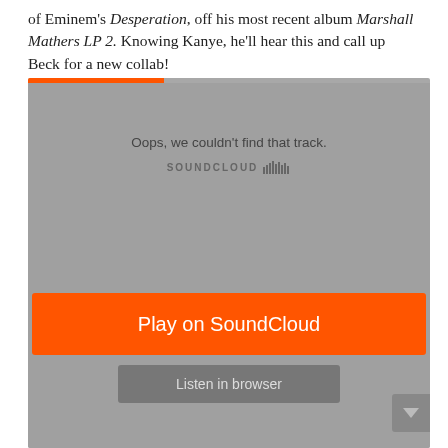of Eminem's Desperation, off his most recent album Marshall Mathers LP 2. Knowing Kanye, he'll hear this and call up Beck for a new collab!
[Figure (screenshot): SoundCloud embedded player widget showing an error state: 'Oops, we couldn't find that track.' with SoundCloud logo, an orange 'Play on SoundCloud' button, and a grey 'Listen in browser' button.]